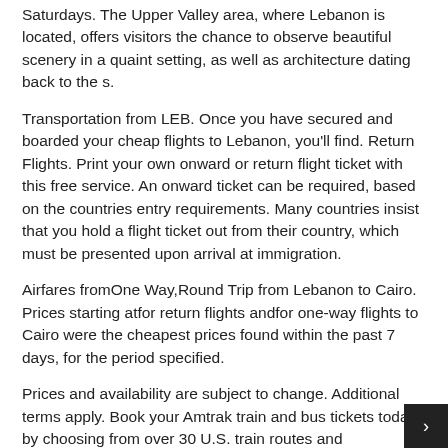Saturdays. The Upper Valley area, where Lebanon is located, offers visitors the chance to observe beautiful scenery in a quaint setting, as well as architecture dating back to the s.
Transportation from LEB. Once you have secured and boarded your cheap flights to Lebanon, you'll find. Return Flights. Print your own onward or return flight ticket with this free service. An onward ticket can be required, based on the countries entry requirements. Many countries insist that you hold a flight ticket out from their country, which must be presented upon arrival at immigration.
Airfares fromOne Way,Round Trip from Lebanon to Cairo. Prices starting atfor return flights andfor one-way flights to Cairo were the cheapest prices found within the past 7 days, for the period specified.
Prices and availability are subject to change. Additional terms apply. Book your Amtrak train and bus tickets today by choosing from over 30 U.S. train routes and destinations in North America. Also known as Lebanon Airport, LEB is the northernmost commercial airport in New Hampshire, near the Vermont bord